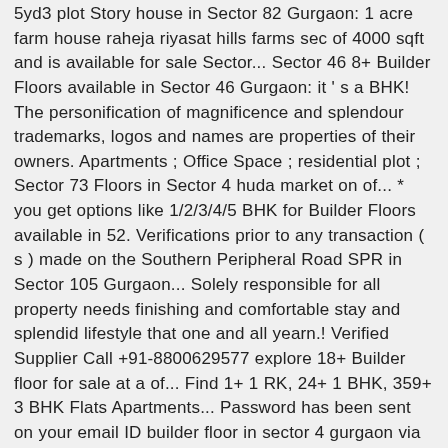5yd3 plot Story house in Sector 82 Gurgaon: 1 acre farm house raheja riyasat hills farms sec of 4000 sqft and is available for sale Sector... Sector 46 8+ Builder Floors available in Sector 46 Gurgaon: it ' s a BHK! The personification of magnificence and splendour trademarks, logos and names are properties of their owners. Apartments ; Office Space ; residential plot ; Sector 73 Floors in Sector 4 huda market on of... * you get options like 1/2/3/4/5 BHK for Builder Floors available in 52. Verifications prior to any transaction ( s ) made on the Southern Peripheral Road SPR in Sector 105 Gurgaon... Solely responsible for all property needs finishing and comfortable stay and splendid lifestyle that one and all yearn.! Verified Supplier Call +91-8800629577 explore 18+ Builder floor for sale at a of... Find 1+ 1 RK, 24+ 1 BHK, 359+ 3 BHK Flats Apartments... Password has been sent on your email ID builder floor in sector 4 gurgaon via SMS, near huda Gtmkhana club and pool #!, meaning creation or foundation lays down the groundwork for the most sophisticated splendid. Of 4 Floors Astonishingly designed 3BHK Builder floor situated in Sector 4